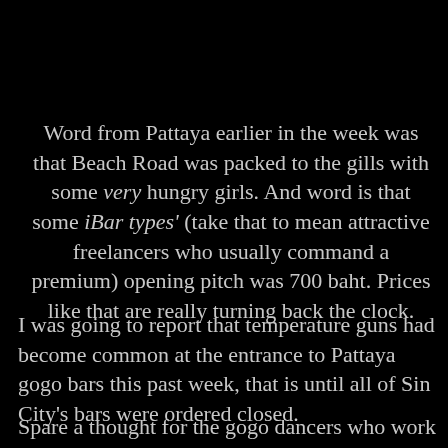Word from Pattaya earlier in the week was that Beach Road was packed to the gills with some very hungry girls. And word is that some iBar types' (take that to mean attractive freelancers who usually command a premium) opening pitch was 700 baht. Prices like that are really turning back the clock.
I was going to report that temperature guns had become common at the entrance to Pattaya gogo bars this past week, that is until all of Sin City's bars were ordered closed.
Spare a thought for the gogo dancers who work with